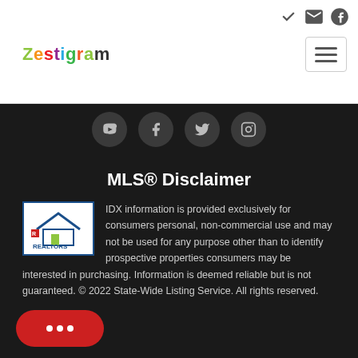Zestigram
[Figure (screenshot): Social media icon circles: YouTube, Facebook, Twitter, Instagram]
MLS® Disclaimer
[Figure (logo): REALTORS logo with house icon]
IDX information is provided exclusively for consumers personal, non-commercial use and may not be used for any purpose other than to identify prospective properties consumers may be interested in purchasing. Information is deemed reliable but is not guaranteed. © 2022 State-Wide Listing Service. All rights reserved.